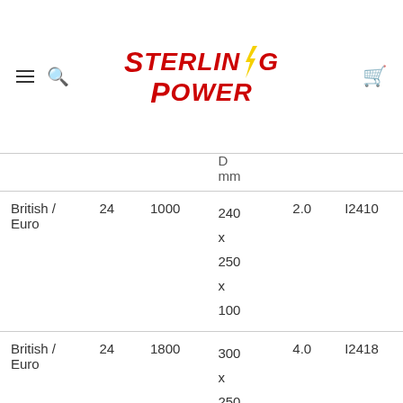Sterling Power
|  |  |  | D mm |  |  |
| --- | --- | --- | --- | --- | --- |
| British / Euro | 24 | 1000 | 240 x 250 x 100 | 2.0 | I2410 |
| British / Euro | 24 | 1800 | 300 x 250 x 100 | 4.0 | I2418 |